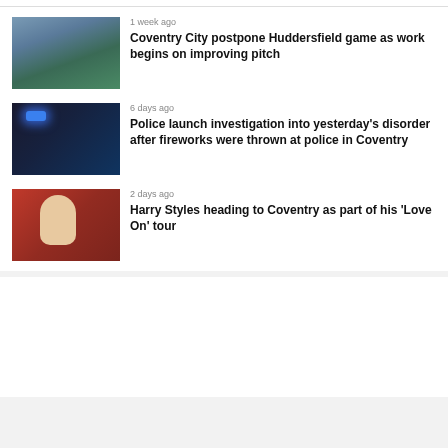[Figure (photo): Coventry City stadium aerial view of pitch]
1 week ago
Coventry City postpone Huddersfield game as work begins on improving pitch
[Figure (photo): Police van with blue flashing lights]
6 days ago
Police launch investigation into yesterday's disorder after fireworks were thrown at police in Coventry
[Figure (photo): Harry Styles on phone with red curtain background]
2 days ago
Harry Styles heading to Coventry as part of his 'Love On' tour